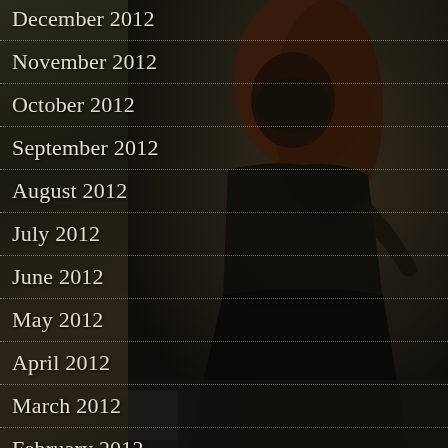[Figure (photo): Dark atmospheric background with a figure wearing a mask, dressed in dark clothing, positioned on the right side of the image]
December 2012
November 2012
October 2012
September 2012
August 2012
July 2012
June 2012
May 2012
April 2012
March 2012
February 2012
January 2012
December 2011
November 2011